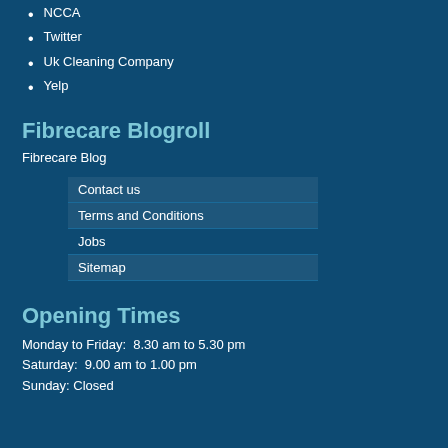NCCA
Twitter
Uk Cleaning Company
Yelp
Fibrecare Blogroll
Fibrecare Blog
| Contact us |
| Terms and Conditions |
| Jobs |
| Sitemap |
Opening Times
Monday to Friday:  8.30 am to 5.30 pm
Saturday:  9.00 am to 1.00 pm
Sunday: Closed